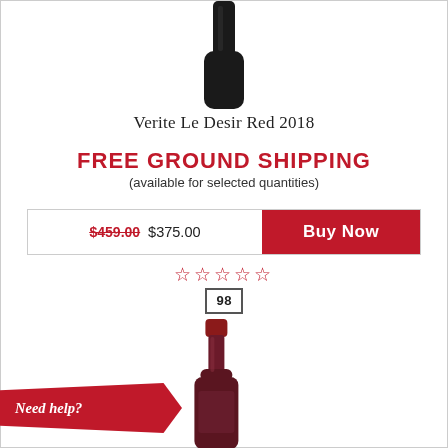[Figure (photo): Top portion of a dark wine bottle (black/dark green) cropped at top of page]
Verite Le Desir Red 2018
FREE GROUND SHIPPING
(available for selected quantities)
$459.00 $375.00  Buy Now
☆☆☆☆☆
98
[Figure (photo): Lower portion of a red-topped wine bottle]
Need help?